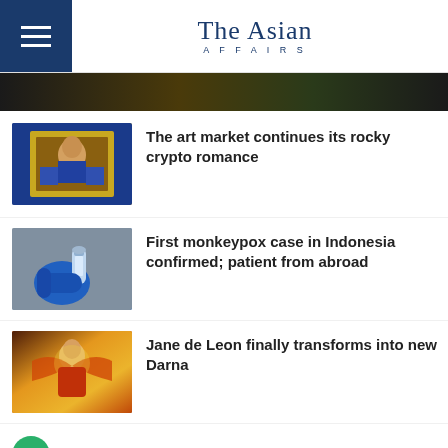The Asian AFFAIRS
[Figure (photo): Dark hero image strip at top]
[Figure (photo): Thumbnail of Mona Lisa painting in blue frame]
The art market continues its rocky crypto romance
[Figure (photo): Thumbnail of gloved hand holding medical vial/syringe]
First monkeypox case in Indonesia confirmed; patient from abroad
[Figure (photo): Thumbnail of Jane de Leon as Darna in golden costume]
Jane de Leon finally transforms into new Darna
SINGAPORE
[Figure (photo): Bottom strip: left image of red/pink items, right image of beige textiles]
[Figure (other): Chat button (green circle with message icon) and scroll-to-top button (blue square with up arrow)]